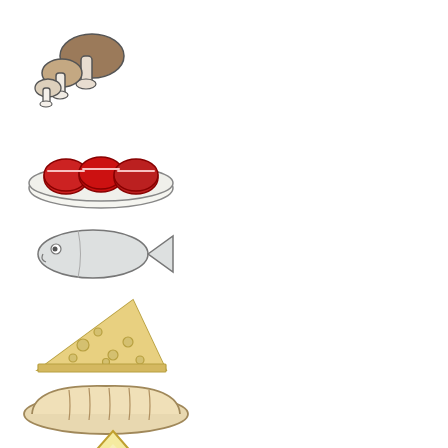[Figure (illustration): Simple line drawing of mushrooms (two mushrooms, one with brown cap, one smaller)]
[Figure (illustration): Simple line drawing of a steak/meat with red slices on a plate]
[Figure (illustration): Simple line drawing of a fish, light grey color with an eye]
[Figure (illustration): Simple line drawing of a wedge of cheese with holes, yellow/tan color]
[Figure (illustration): Simple line drawing of a loaf of bread, beige/tan color]
[Figure (illustration): Simple line drawing of a slice of pizza or pie, yellow/cream color]
[Figure (illustration): Simple line drawing of pasta/macaroni pieces, beige color]